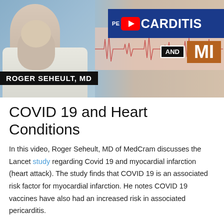[Figure (screenshot): YouTube video thumbnail showing Roger Seheult, MD with text 'PERICARDITIS AND MI' on blue and brown backgrounds with YouTube play button icon]
COVID 19 and Heart Conditions
In this video, Roger Seheult, MD of MedCram discusses the Lancet study regarding Covid 19 and myocardial infarction (heart attack). The study finds that COVID 19 is an associated risk factor for myocardial infarction. He notes COVID 19 vaccines have also had an increased risk in associated pericarditis.
Myocardial Infarction vs.